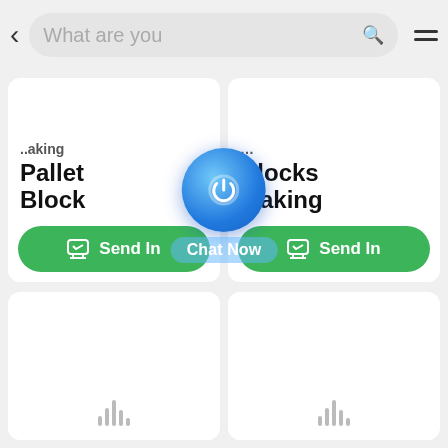[Figure (screenshot): Mobile app search bar at top with back arrow, search field showing 'What are you', search icon, and hamburger menu icon]
Pallet Block
Blocks Making
Send In
Send In
[Figure (other): Chat Now button overlay with blue circular icon and 'Chat Now' label in semi-transparent blue pill]
[Figure (other): Two empty white product cards with loading spinners at the bottom]